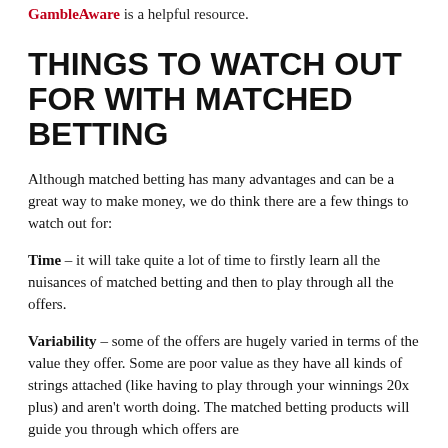GambleAware is a helpful resource.
THINGS TO WATCH OUT FOR WITH MATCHED BETTING
Although matched betting has many advantages and can be a great way to make money, we do think there are a few things to watch out for:
Time – it will take quite a lot of time to firstly learn all the nuisances of matched betting and then to play through all the offers.
Variability – some of the offers are hugely varied in terms of the value they offer. Some are poor value as they have all kinds of strings attached (like having to play through your winnings 20x plus) and aren't worth doing. The matched betting products will guide you through which offers are